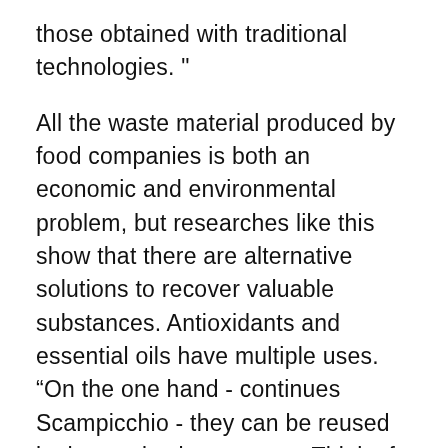those obtained with traditional technologies. "
All the waste material produced by food companies is both an economic and environmental problem, but researches like this show that there are alternative solutions to recover valuable substances. Antioxidants and essential oils have multiple uses. “On the one hand - continues Scampicchio - they can be reused in the production process. Think of apple seed oil, for example, which could be reused to enhance the aromatic intensity of drinks, cakes, snacks and more. On the